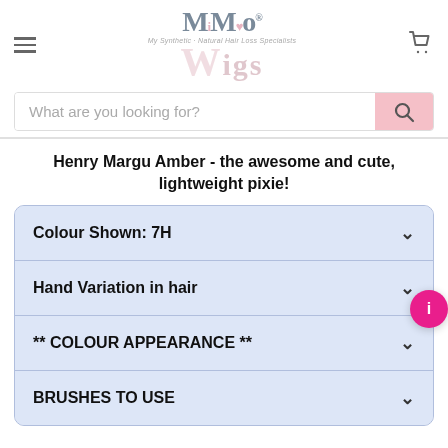[Figure (logo): MiMo Wigs logo with hamburger menu and cart icon in header navigation]
What are you looking for?
Henry Margu Amber - the awesome and cute, lightweight pixie!
Colour Shown: 7H
Hand Variation in hair
** COLOUR APPEARANCE **
BRUSHES TO USE